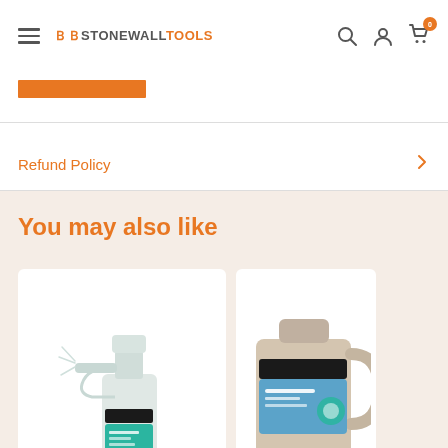STONEWALL TOOLS
[Figure (screenshot): Orange horizontal bar / banner element]
Refund Policy
You may also like
[Figure (photo): Spray bottle product image]
[Figure (photo): Large jug/container product image (partially visible)]